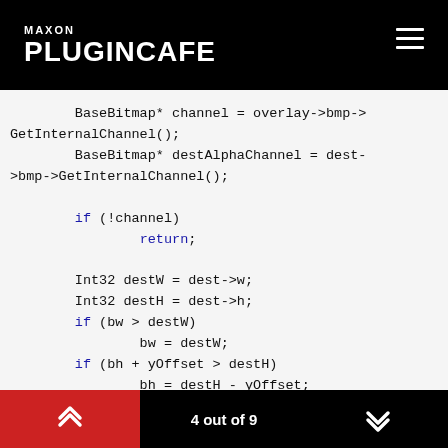MAXON PLUGINCAFE
BaseBitmap* channel = overlay->bmp->GetInternalChannel();
        BaseBitmap* destAlphaChannel = dest->bmp->GetInternalChannel();

        if (!channel)
                return;

        Int32 destW = dest->w;
        Int32 destH = dest->h;
        if (bw > destW)
                bw = destW;
        if (bh + yOffset > destH)
                bh = destH - yOffset;
        if (bw + xOffset > destW)
                bw = destW - xOffset;
4 out of 9